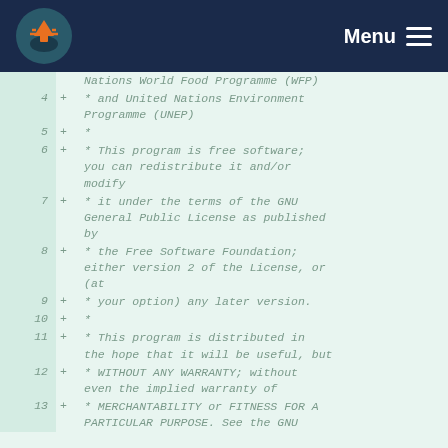Meridian | Menu
Code diff view showing lines 4–13 of a source file with GNU GPL license header comments